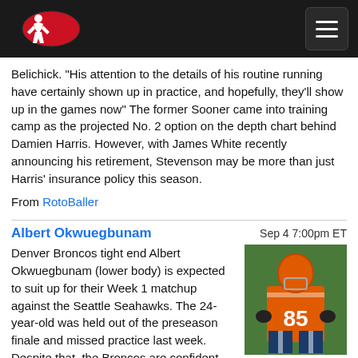RotoBallers logo and navigation
Belichick. "His attention to the details of his routine running have certainly shown up in practice, and hopefully, they'll show up in the games now" The former Sooner came into training camp as the projected No. 2 option on the depth chart behind Damien Harris. However, with James White recently announcing his retirement, Stevenson may be more than just Harris' insurance policy this season.
From RotoBaller
Albert Okwuegbunam   Sep 4 7:00pm ET
Denver Broncos tight end Albert Okwuegbunam (lower body) is expected to suit up for their Week 1 matchup against the Seattle Seahawks. The 24-year-old was held out of the preseason finale and missed practice last week. Despite that, the Broncos are confident that Okwuegbunam will be ready to play at the beginning of the season. He'll be the No. 1 tight end in Denver and should see significant snaps right away. Okwuegbunam could be worth grabbing in the late rounds of fantasy drafts. However, he might not be an impact player right
[Figure (photo): Albert Okwuegbunam in Denver Broncos orange jersey number 85, action photo]